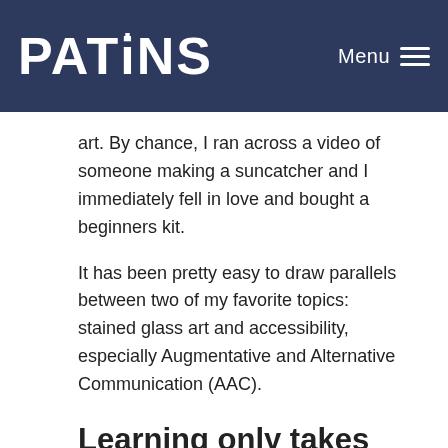PATiNS | Menu
art. By chance, I ran across a video of someone making a suncatcher and I immediately fell in love and bought a beginners kit.
It has been pretty easy to draw parallels between two of my favorite topics: stained glass art and accessibility, especially Augmentative and Alternative Communication (AAC).
Learning only takes place when other people are involved.
Being self-taught is a myth. No one on this planet is “self-taught” because learning takes other people and the environments they design. While I have yet to attend a formal class in stained glass, I’ve